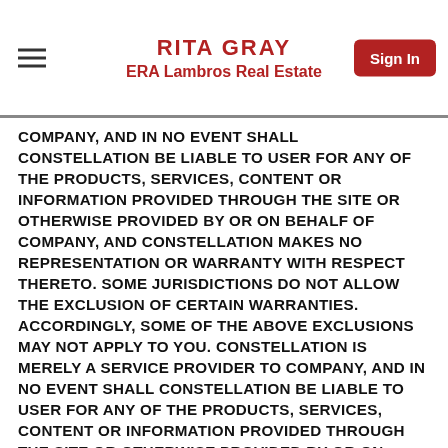RITA GRAY
ERA Lambros Real Estate
COMPANY, AND IN NO EVENT SHALL CONSTELLATION BE LIABLE TO USER FOR ANY OF THE PRODUCTS, SERVICES, CONTENT OR INFORMATION PROVIDED THROUGH THE SITE OR OTHERWISE PROVIDED BY OR ON BEHALF OF COMPANY, AND CONSTELLATION MAKES NO REPRESENTATION OR WARRANTY WITH RESPECT THERETO. SOME JURISDICTIONS DO NOT ALLOW THE EXCLUSION OF CERTAIN WARRANTIES. ACCORDINGLY, SOME OF THE ABOVE EXCLUSIONS MAY NOT APPLY TO YOU. CONSTELLATION IS MERELY A SERVICE PROVIDER TO COMPANY, AND IN NO EVENT SHALL CONSTELLATION BE LIABLE TO USER FOR ANY OF THE PRODUCTS, SERVICES, CONTENT OR INFORMATION PROVIDED THROUGH THE SITE OR OTHERWISE PROVIDED BY OR ON BEHALF OF COMPANY, AND CONSTELLATION MAKES NO REPRESENTATION OR WARRANTY WITH RESPECT THERETO. SOME JURISDICTIONS DO NOT ALLOW THE EXCLUSION OF CERTAIN WARRANTIES. ACCORDINGLY